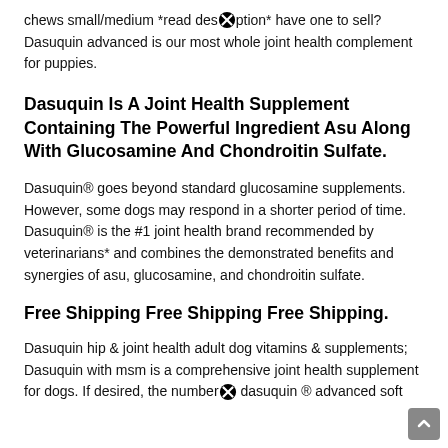chews small/medium *read description* have one to sell? Dasuquin advanced is our most whole joint health complement for puppies.
Dasuquin Is A Joint Health Supplement Containing The Powerful Ingredient Asu Along With Glucosamine And Chondroitin Sulfate.
Dasuquin® goes beyond standard glucosamine supplements. However, some dogs may respond in a shorter period of time. Dasuquin® is the #1 joint health brand recommended by veterinarians* and combines the demonstrated benefits and synergies of asu, glucosamine, and chondroitin sulfate.
Free Shipping Free Shipping Free Shipping.
Dasuquin hip & joint health adult dog vitamins & supplements; Dasuquin with msm is a comprehensive joint health supplement for dogs. If desired, the number dasuquin ® advanced soft